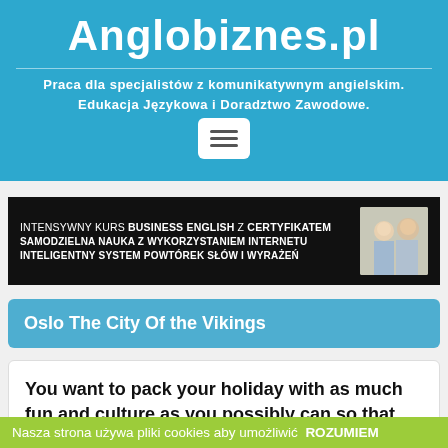Anglobiznes.pl
Praca dla specjalistów z komunikatywnym angielskim. Edukacja Językowa i Doradztwo Zawodowe.
[Figure (screenshot): Hamburger menu button with three horizontal bars on white rounded background]
[Figure (photo): Banner advertisement: INTENSYWNY KURS BUSINESS ENGLISH Z CERTYFIKATEM, SAMODZIELNA NAUKA Z WYKORZYSTANIEM INTERNETU, INTELIGENTNY SYSTEM POWTÓREK SŁÓW I WYRAŻEŃ, with a photo of a smiling couple on dark background]
Oslo The City Of the Vikings
You want to pack your holiday with as much fun and culture as you possibly can so that you
Nasza strona używa pliki cookies aby umożliwić  ROZUMIEM